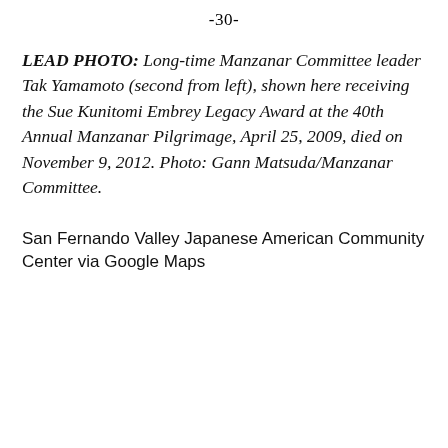-30-
LEAD PHOTO: Long-time Manzanar Committee leader Tak Yamamoto (second from left), shown here receiving the Sue Kunitomi Embrey Legacy Award at the 40th Annual Manzanar Pilgrimage, April 25, 2009, died on November 9, 2012. Photo: Gann Matsuda/Manzanar Committee.
San Fernando Valley Japanese American Community Center via Google Maps